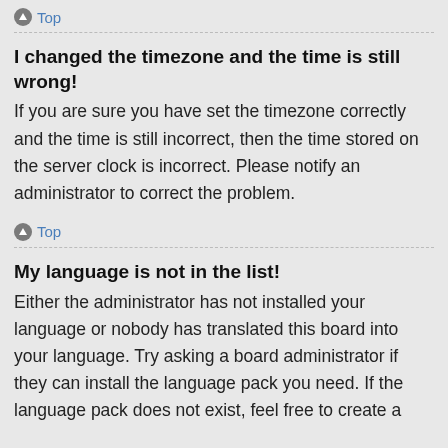Top
I changed the timezone and the time is still wrong!
If you are sure you have set the timezone correctly and the time is still incorrect, then the time stored on the server clock is incorrect. Please notify an administrator to correct the problem.
Top
My language is not in the list!
Either the administrator has not installed your language or nobody has translated this board into your language. Try asking a board administrator if they can install the language pack you need. If the language pack does not exist, feel free to create a